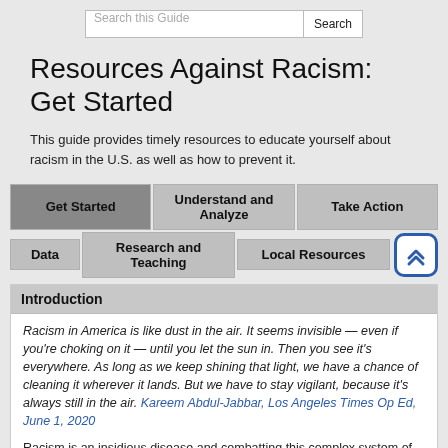Search this Guide | Search
Resources Against Racism: Get Started
This guide provides timely resources to educate yourself about racism in the U.S. as well as how to prevent it.
Get Started
Understand and Analyze
Take Action
Data
Research and Teaching
Local Resources
Introduction
Racism in America is like dust in the air. It seems invisible — even if you're choking on it — until you let the sun in. Then you see it's everywhere. As long as we keep shining that light, we have a chance of cleaning it wherever it lands. But we have to stay vigilant, because it's always still in the air. Kareem Abdul-Jabbar, Los Angeles Times Op Ed, June 1, 2020
Racism is an insidious disease and combatting this complex system of social and political levers requires ongoing attention from our community and from the institutions that serve this community. To be